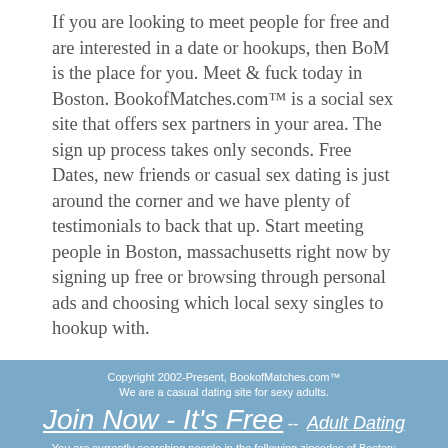If you are looking to meet people for free and are interested in a date or hookups, then BoM is the place for you. Meet & fuck today in Boston. BookofMatches.com™ is a social sex site that offers sex partners in your area. The sign up process takes only seconds. Free Dates, new friends or casual sex dating is just around the corner and we have plenty of testimonials to back that up. Start meeting people in Boston, massachusetts right now by signing up free or browsing through personal ads and choosing which local sexy singles to hookup with.
Copyright 2002-Present, BookofMatches.com™
We are a casual dating site for sexy adults.
Join Now - It's Free -- Adult Dating
You are currently searching people in the following zipcodes of Boston:
02101 - 02102 - 02103 - 02104 - 02105 - 02106 - 02107 - 02108 - 02109 - 02110 - 02111 - 02112 - 02113 - 02114 - 02115 - 02116 - 02117 - 02118 - 02119 - 02120 - 02121 - 02122 - 02123 - 02124 - 02125 - 02126 - 02127 - 02128 - 02129 - 02130 - 02131 - 02132 - 02133 - 02134 - 02135 - 02136 - 02137 - 02163 - 02196 - 02199 - 02201 - 02203 - 02204 - 02205 - 02206 - 02207 - 02208 - 02209 - 02210 - 02211 -